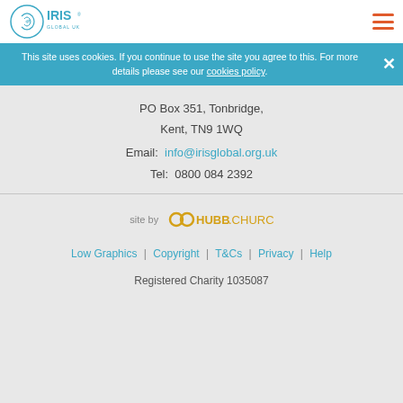IRIS Global UK logo and navigation menu
This site uses cookies. If you continue to use the site you agree to this. For more details please see our cookies policy.
PO Box 351, Tonbridge,
Kent, TN9 1WQ
Email: info@irisglobal.org.uk
Tel: 0800 084 2392
[Figure (logo): HUBB.CHURCH logo with text 'site by']
Low Graphics | Copyright | T&Cs | Privacy | Help
Registered Charity 1035087